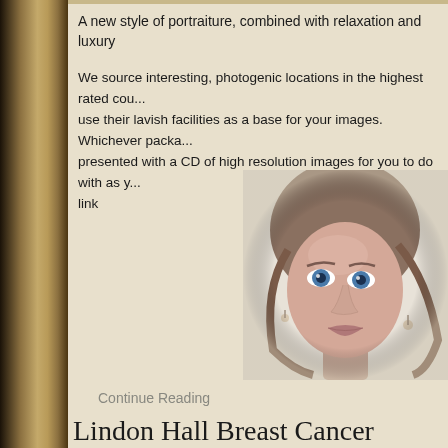A new style of portraiture, combined with relaxation and luxury
We source interesting, photogenic locations in the highest rated cou... use their lavish facilities as a base for your images. Whichever packa... presented with a CD of high resolution images for you to do with as y... link
[Figure (photo): Close-up portrait of a young woman with blue eyes and brown wavy hair, looking upward, wearing dangling pearl earrings. Black and white / desaturated style photograph.]
Continue Reading
Lindon Hall Breast Cancer Appea...